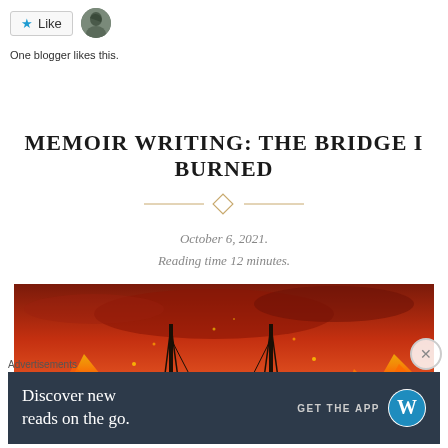[Figure (other): Like button with blue star and avatar of a person]
One blogger likes this.
MEMOIR WRITING: THE BRIDGE I BURNED
October 6, 2021.
Reading time 12 minutes.
[Figure (photo): A dramatic image of a burning bridge with fire and red smoky sky]
Advertisements
[Figure (other): WordPress advertisement banner: Discover new reads on the go. GET THE APP with WordPress logo]